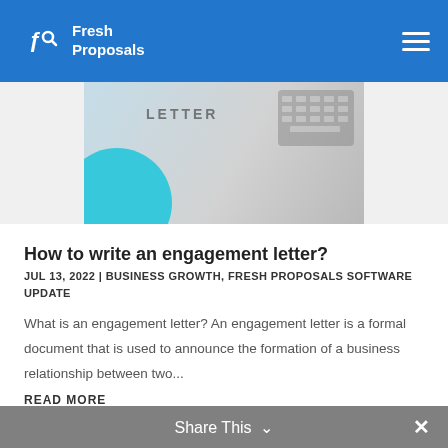Fresh Proposals
[Figure (photo): Partially visible blog post hero image showing the word LETTER with a teal circle and keyboard in the background]
How to write an engagement letter?
JUL 13, 2022 | BUSINESS GROWTH, FRESH PROPOSALS SOFTWARE UPDATE
What is an engagement letter? An engagement letter is a formal document that is used to announce the formation of a business relationship between two...
READ MORE
Share This ∨  ×